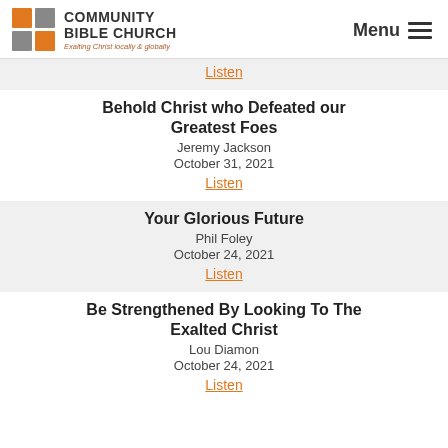[Figure (logo): Community Bible Church logo with orange and gray squares icon, bold text 'COMMUNITY BIBLE CHURCH', tagline 'Exalting Christ locally & globally']
Listen
Behold Christ who Defeated our Greatest Foes
Jeremy Jackson
October 31, 2021
Listen
Your Glorious Future
Phil Foley
October 24, 2021
Listen
Be Strengthened By Looking To The Exalted Christ
Lou Diamon
October 24, 2021
Listen